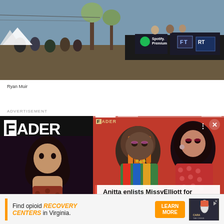[Figure (photo): Outdoor music festival scene with crowd and FORT/Spotify Premium branded banners, people leaning over a barrier, trees in background]
Ryan Muir
ADVERTISEMENT
[Figure (photo): FADER magazine advertisement showing a woman with tattoos and curly hair against dark background, with FADER logo]
[Figure (photo): Anitta and Missy Elliott posed together against a red background, FADER branded content panel with navigation arrows and close button]
Anitta enlists MissyElliott for newsong andvideo “Lobby”
[Figure (photo): Advertisement: Find opioid RECOVERY CENTERS in Virginia. Learn More button. Cara The Crisis logo.]